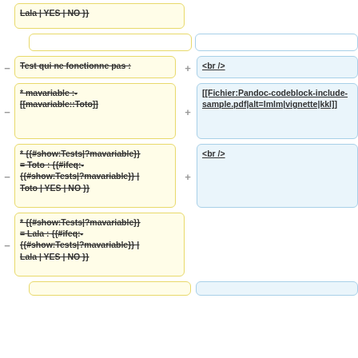Lala | YES | NO }}
(empty left cell)
- Test qui ne fonctionne pas :
+ <br />
- * mavariable :- [[mavariable::Toto]]
+ [[Fichier:Pandoc-codeblock-include-sample.pdf|alt=lmlm|vignette|kkl]]
- * {{#show:Tests|?mavariable}} = Toto : {{#ifeq: {{#show:Tests|?mavariable}} | Toto | YES | NO }}
+ <br />
- * {{#show:Tests|?mavariable}} = Lala : {{#ifeq: {{#show:Tests|?mavariable}} | Lala | YES | NO }}